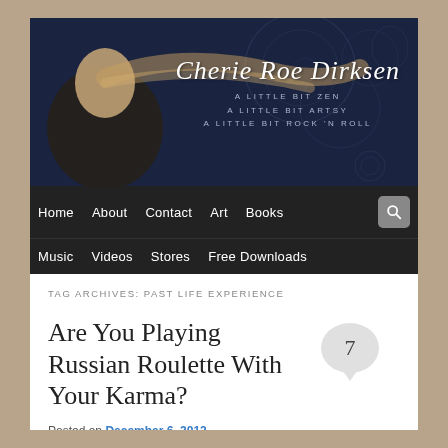[Figure (photo): Website header banner for Cherie Roe Dirksen blog with dark navy background, decorative swirls/circles, and a photo of a blonde woman. Text reads 'Cherie Roe Dirksen' in italic script, with tagline 'A Little Bit Zen / A Little Bit Artsy / A Little Bit Rock N Roll']
Home  About  Contact  Art  Books  [search]  Music  Videos  Stores  Free Downloads
TAG ARCHIVES: PAST LIFE EXPERIENCE
Are You Playing Russian Roulette With Your Karma?
Posted on December 6, 2012
What is Karma?